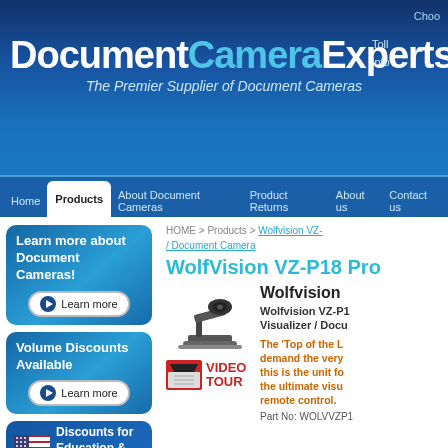DocumentCameraExperts — The Premier Supplier of Document Cameras
Choo
Toll
info
Home | Products | About Document Cameras | Product Returns | About us | Contact us
[Figure (infographic): Learn more about Document Cameras! button with Learn more CTA]
[Figure (infographic): Volume Discounts Available button with Learn more CTA]
[Figure (infographic): Discounts for Education & Government! with US flag icon]
HOME > Products > Wolfvision VZ- / Document Camera
WolfVision VZ-P18 Pro
[Figure (photo): WolfVision VZ-P18 document camera product image]
[Figure (other): VIDEO TOUR clapper icon in red]
Wolfvision
Wolfvision VZ-P1 Visualizer / Docu
The 'Top of the L demand the very this is the unit fo the ultimate visu remote control.
Part No: WOLVVZP1